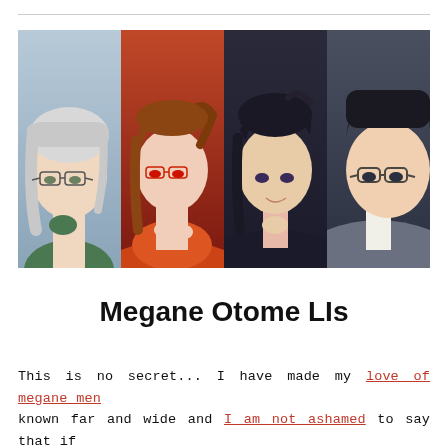[Figure (illustration): A collage of four anime-style male characters, all wearing glasses. Left: white-haired character in green jacket. Second: brown-haired character with red eyes and orange/red scarf. Third: dark-haired character in black outfit. Right: dark-haired character in grey suit with glasses.]
Megane Otome LIs
This is no secret... I have made my love of megane men known far and wide and I am not ashamed to say that if